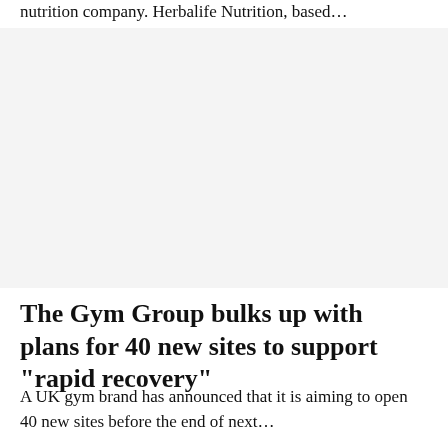nutrition company. Herbalife Nutrition, based…
[Figure (photo): Image placeholder area, light grey background]
The Gym Group bulks up with plans for 40 new sites to support "rapid recovery"
A UK gym brand has announced that it is aiming to open 40 new sites before the end of next…